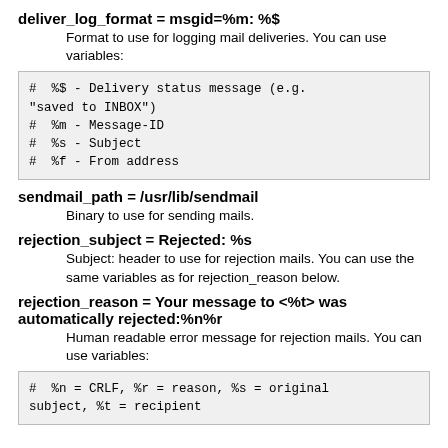deliver_log_format = msgid=%m: %$
Format to use for logging mail deliveries. You can use variables:
[Figure (screenshot): Code block showing variables: # %$ - Delivery status message (e.g. "saved to INBOX") # %m - Message-ID # %s - Subject # %f - From address]
sendmail_path = /usr/lib/sendmail
Binary to use for sending mails.
rejection_subject = Rejected: %s
Subject: header to use for rejection mails. You can use the same variables as for rejection_reason below.
rejection_reason = Your message to <%t> was automatically rejected:%n%r
Human readable error message for rejection mails. You can use variables:
[Figure (screenshot): Code block showing: # %n = CRLF, %r = reason, %s = original subject, %t = recipient]